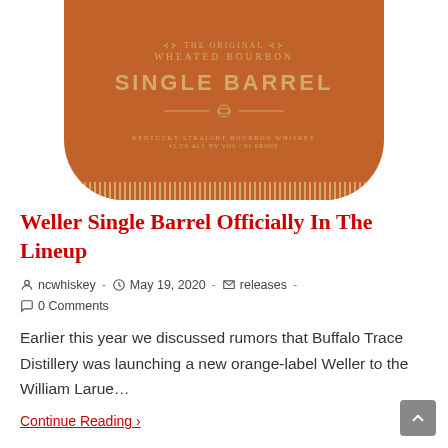[Figure (photo): Weller Single Barrel bourbon whiskey bottle label — orange/terracotta background with gold text reading 'THE ORIGINAL WHEATED BOURBON', 'SINGLE BARREL', ornamental divider, 'KENTUCKY STRAIGHT BOURBON WHISKEY', '45.5% ALC BY VOL / 91 PROOF', with decorative dotted stripe at bottom.]
Weller Single Barrel Officially In The Lineup
ncwhiskey · May 19, 2020 · releases · 0 Comments
Earlier this year we discussed rumors that Buffalo Trace Distillery was launching a new orange-label Weller to the William Larue…
Continue Reading ›